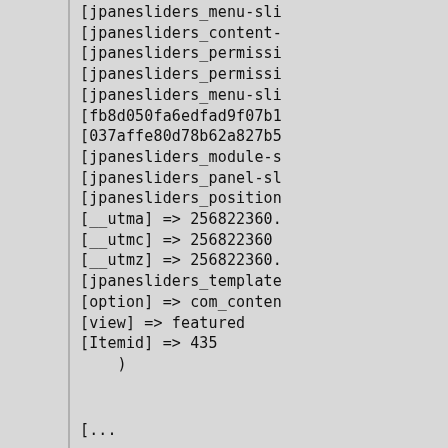[jpanesliders_menu-sli
[jpanesliders_content-
[jpanesliders_permissi
[jpanesliders_permissi
[jpanesliders_menu-sli
[fb8d050fa6edfad9f07b1
[037affe80d78b62a827b5
[jpanesliders_module-s
[jpanesliders_panel-sl
[jpanesliders_position
[__utma] => 256822360.
[__utmc] => 256822360
[__utmz] => 256822360.
[jpanesliders_template
[option] => com_conten
[view] => featured
[Itemid] => 435
)

[...